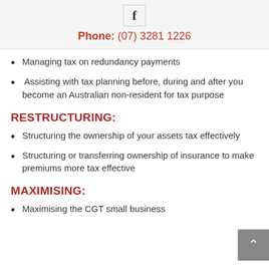f
Phone: (07) 3281 1226
Managing tax on redundancy payments
Assisting with tax planning before, during and after you become an Australian non-resident for tax purpose
RESTRUCTURING:
Structuring the ownership of your assets tax effectively
Structuring or transferring ownership of insurance to make premiums more tax effective
MAXIMISING:
Maximising the CGT small business